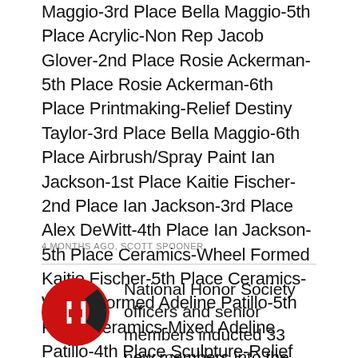Maggio-3rd Place Bella Maggio-5th Place Acrylic-Non Rep Jacob Glover-2nd Place Rosie Ackerman-5th Place Rosie Ackerman-6th Place Printmaking-Relief Destiny Taylor-3rd Place Bella Maggio-6th Place Airbrush/Spray Paint Ian Jackson-1st Place Kaitie Fischer-2nd Place Ian Jackson-3rd Place Alex DeWitt-4th Place Ian Jackson-5th Place Ceramics-Wheel Formed Kaitie Fischer-5th Place Ceramics-Wheel Formed Adeline Patillo-5th Place Ceramics-Mixed Adeline Patillo-4th Place Sculpture-Relief Lexie Brashers-2nd Place Textiles/Fibers-3D Lexi Brashers-1st Place
4 MONTHS AGO, SCOTT SPOONER
National Honor Society officers and senior members inducted 33 new members into the Aurora R-8